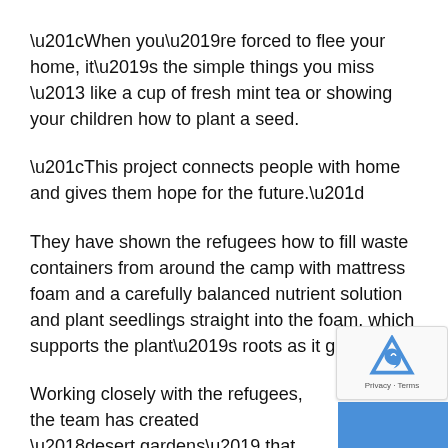“When you’re forced to flee your home, it’s the simple things you miss – like a cup of fresh mint tea or showing your children how to plant a seed.
“This project connects people with home and gives them hope for the future.”
They have shown the refugees how to fill waste containers from around the camp with mattress foam and a carefully balanced nutrient solution and plant seedlings straight into the foam, which supports the plant’s roots as it grows.
Working closely with the refugees, the team has created ‘desert gardens’ that provide people in the camp with fresh herbs and vegetables, training opportunities and longer-term greenery in a harsh desert landscape.